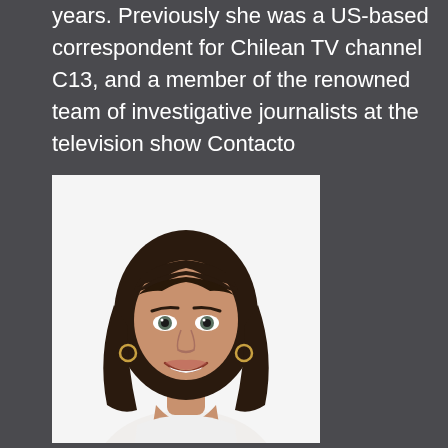years. Previously she was a US-based correspondent for Chilean TV channel C13, and a member of the renowned team of investigative journalists at the television show Contacto
[Figure (photo): Professional headshot of a woman with dark shoulder-length hair with bangs, smiling, wearing a white top, against a white background.]